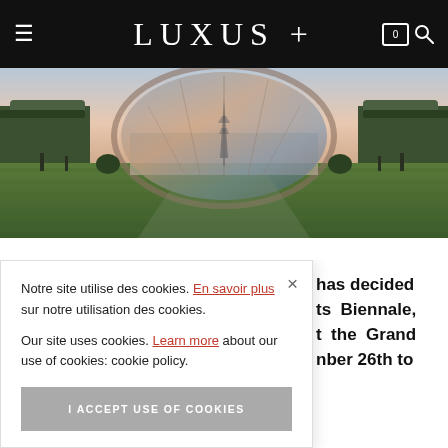LUXUS +
[Figure (photo): Panoramic photo of a large glass-domed building with Eiffel Tower reflection, flanked by tree-lined paths and a green lawn in the foreground — the Grand Palais area in Paris.]
Notre site utilise des cookies. En savoir plus sur notre utilisation des cookies.

Our site uses cookies. Learn more about our use of cookies: cookie policy.

I ACCEPT USE OF COOKIES
has decided ts Biennale, t the Grand nber 26th to
This 32nd edition of the Biennale des Antiquaires